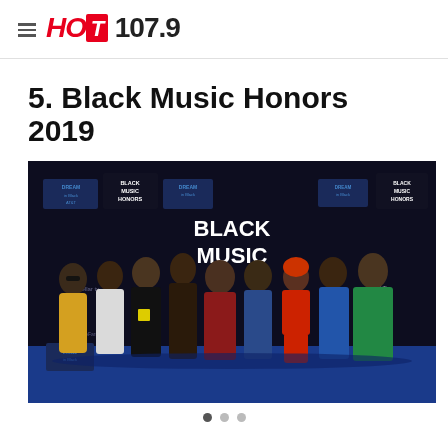HOT 107.9
5. Black Music Honors 2019
[Figure (photo): Group photo of multiple people posing together at the Black Music Honors 2019 event on a blue carpet. Backdrop signage includes 'Black Music Honors', 'Dream in Black' and 'AT&T' logos.]